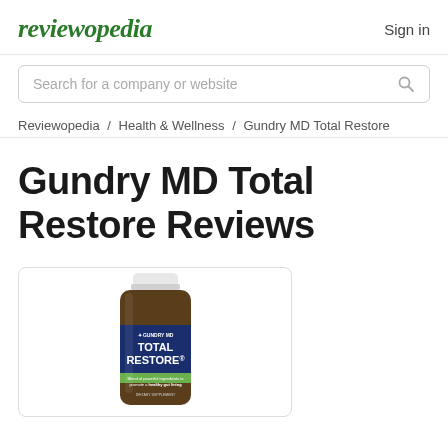reviewopedia   Sign in
Search for a company or website
Reviewopedia / Health & Wellness / Gundry MD Total Restore
Gundry MD Total Restore Reviews
[Figure (photo): Photo of Gundry MD Total Restore supplement bottle — dark amber glass bottle with white cap and navy blue label reading TOTAL RESTORE, shown against a white background inside a rounded-rectangle border box]